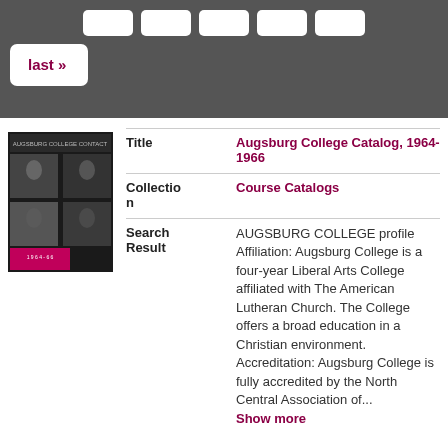[Figure (screenshot): Navigation bar with grey background showing page buttons and a 'last »' button]
[Figure (illustration): Thumbnail of Augsburg College Catalog 1964-1966 book cover, black and white with pink accent]
| Field | Value |
| --- | --- |
| Title | Augsburg College Catalog, 1964-1966 |
| Collection | Course Catalogs |
| Search Result | AUGSBURG COLLEGE profile Affiliation: Augsburg College is a four-year Liberal Arts College affiliated with The American Lutheran Church. The College offers a broad education in a Christian environment. Accreditation: Augsburg College is fully accredited by the North Central Association of... Show more |